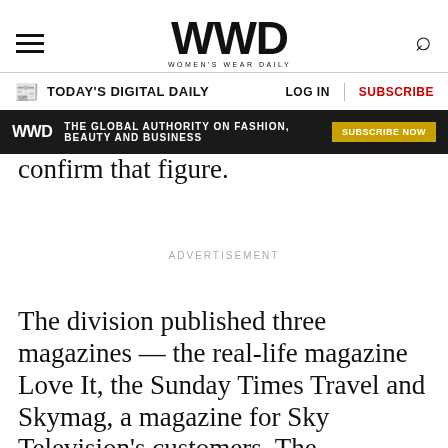WWD — WOMEN'S WEAR DAILY
TODAY'S DIGITAL DAILY  LOG IN  SUBSCRIBE
[Figure (other): WWD dark promo banner: 'THE GLOBAL AUTHORITY ON FASHION, BEAUTY AND BUSINESS' with SUBSCRIBE NOW button]
confirm that figure.
ADVERTISEMENT
The division published three magazines — the real-life magazine Love It, the Sunday Times Travel and Skymag, a magazine for Sky Television's customers. The spokeswoman said the company planned to sell Love It, while the Sunday Times Travel will be published from News International's newspaper headquarters. The spokeswoman was unable to…